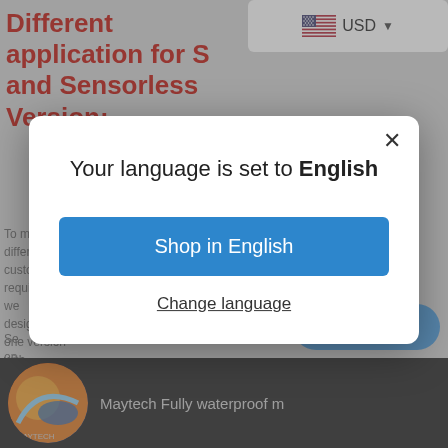Different application for S... and Sensorless Version:
To meet different customers requirements we designed one version with ha...
Se... d on...
Se... su...
[Figure (screenshot): Modal dialog overlay on a webpage. The modal shows 'Your language is set to English' with a 'Shop in English' blue button and a 'Change language' underlined link. A close (×) button is in the top right of the modal. Behind the modal is a webpage with a red bold title 'Different application for S... and Sensorless Version:' and a USD currency selector with US flag in the top right. At the bottom is a dark video strip showing a Maytech waterproof motor thumbnail and a blue 'Chatta con noi' chat button.]
Your language is set to English
Shop in English
Change language
Chatta con noi
Maytech Fully waterproof m...